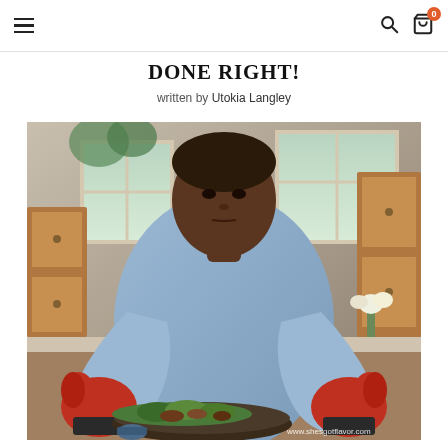navigation header with hamburger menu, search icon, and cart icon with badge 0
DONE RIGHT!
written by Utokia Langley
[Figure (photo): A man wearing a light blue button-down shirt and red oven mitts stands in a kitchen, leaning over a pan of cooked food (broccoli and meat). The kitchen has wooden cabinets, a window with natural light, and flowers in the background. Watermark reads www.shesgotflavor.com]